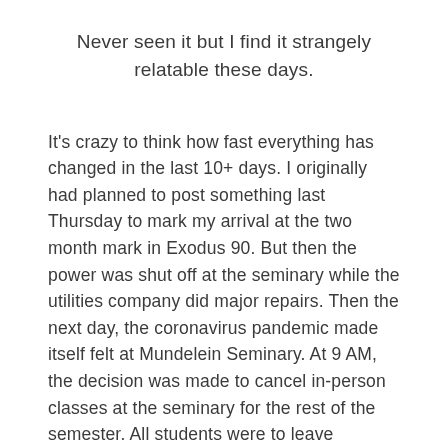Never seen it but I find it strangely relatable these days.
It's crazy to think how fast everything has changed in the last 10+ days. I originally had planned to post something last Thursday to mark my arrival at the two month mark in Exodus 90. But then the power was shut off at the seminary while the utilities company did major repairs. Then the next day, the coronavirus pandemic made itself felt at Mundelein Seminary. At 9 AM, the decision was made to cancel in-person classes at the seminary for the rest of the semester. All students were to leave campus as soon as possible, leaving no later than Wednesday of this week. In